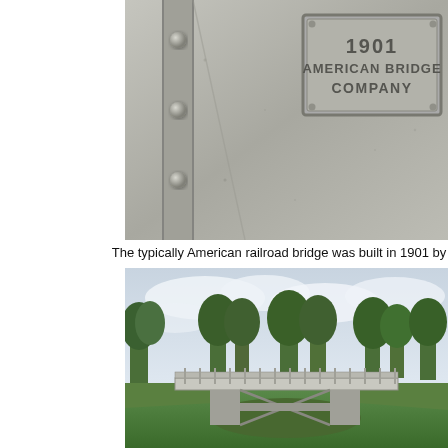[Figure (photo): Close-up photograph of a riveted steel bridge panel with a cast metal plaque reading '1901 AMERICAN BRIDGE COMPANY']
The typically American railroad bridge was built in 1901 by the American
[Figure (photo): Wide photograph of a steel railroad bridge spanning a valley with green trees and cloudy sky in the background]